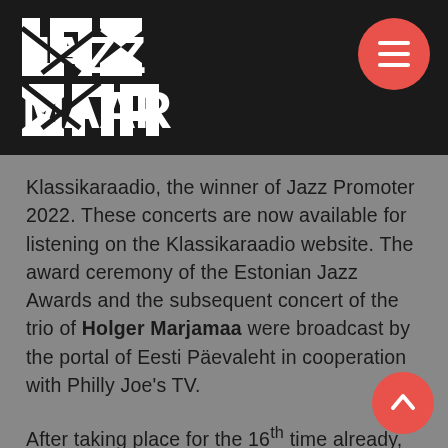[Figure (logo): Jazz Maar festival logo in white on black background]
Klassikaraadio, the winner of Jazz Promoter 2022. These concerts are now available for listening on the Klassikaraadio website. The award ceremony of the Estonian Jazz Awards and the subsequent concert of the trio of Holger Marjamaa were broadcast by the portal of Eesti Päevaleht in cooperation with Philly Joe's TV.
After taking place for the 16th time already, the Urban Space Project has become an integral part of the festival, presenting 91 concerts in Tallinn, Pärnu, Tartu and Viljandi. Young jazz talents performed in hospitals, day centres, bus stations, markets, schools, kindergartens and other public